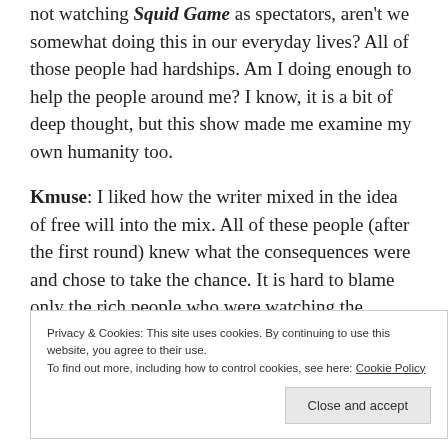not watching Squid Game as spectators, aren't we somewhat doing this in our everyday lives? All of those people had hardships. Am I doing enough to help the people around me? I know, it is a bit of deep thought, but this show made me examine my own humanity too.
Kmuse: I liked how the writer mixed in the idea of free will into the mix. All of these people (after the first round) knew what the consequences were and chose to take the chance. It is hard to blame only the rich people who were watching the contestants. There was plenty of blame to go around.
Privacy & Cookies: This site uses cookies. By continuing to use this website, you agree to their use. To find out more, including how to control cookies, see here: Cookie Policy
Close and accept
I think some of these games aren't going to hit the